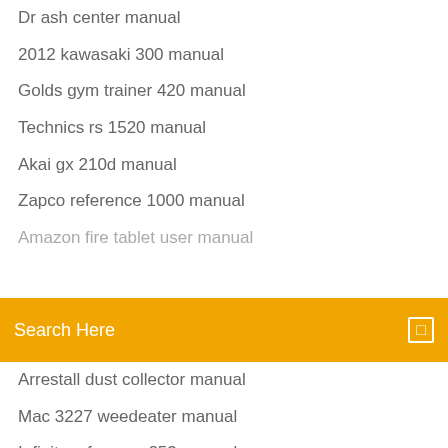Dr ash center manual
2012 kawasaki 300 manual
Golds gym trainer 420 manual
Technics rs 1520 manual
Akai gx 210d manual
Zapco reference 1000 manual
Amazon fire tablet user manual
[Figure (screenshot): Orange search bar with text 'Search Here' and a search icon on the right]
Arrestall dust collector manual
Mac 3227 weedeater manual
Infinity reference 253 manual
Gladiator refrigerator freezer manual
Broan bp 27 manual
Delphi dea500 user manual
Alius 2 phone manual
Dynex 40 inch tv manual
Lorelton assisted living manual
Taos rv park manual